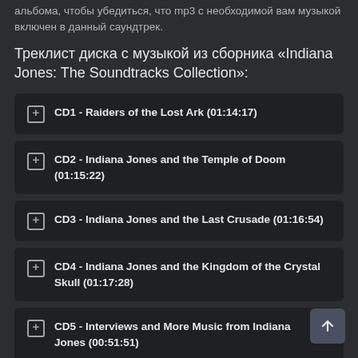альбома, чтобы убедиться, что mp3 с необходимой вам музыкой включен в данный саундтрек.
Треклист диска с музыкой из сборника «Indiana Jones: The Soundtracks Collection»:
CD1 - Raiders of the Lost Ark (01:14:17)
CD2 - Indiana Jones and the Temple of Doom (01:15:22)
CD3 - Indiana Jones and the Last Crusade (01:16:54)
CD4 - Indiana Jones and the Kingdom of the Crystal Skull (01:17:28)
CD5 - Interviews and More Music from Indiana Jones (00:51:51)